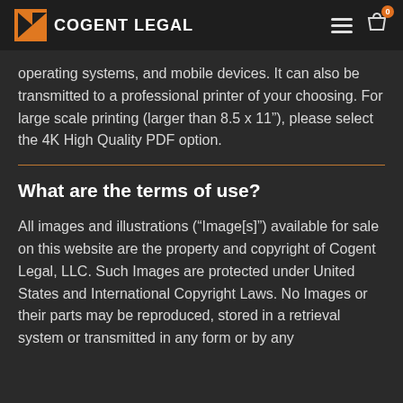COGENT LEGAL
operating systems, and mobile devices. It can also be transmitted to a professional printer of your choosing. For large scale printing (larger than 8.5 x 11"), please select the 4K High Quality PDF option.
What are the terms of use?
All images and illustrations (“Image[s]”) available for sale on this website are the property and copyright of Cogent Legal, LLC. Such Images are protected under United States and International Copyright Laws. No Images or their parts may be reproduced, stored in a retrieval system or transmitted in any form or by any